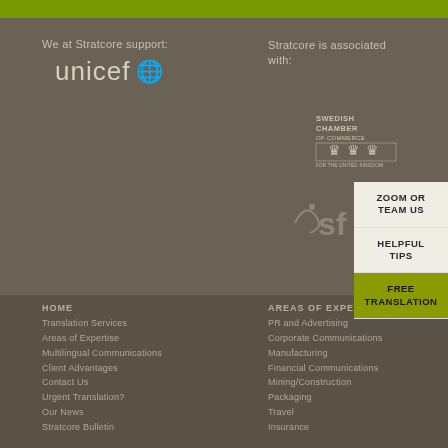We at Stratcore support:
[Figure (logo): UNICEF logo with globe icon]
Stratcore is associated with:
[Figure (logo): Swedish Chamber of Commerce for the United Kingdom logo]
[Figure (logo): SFB logo partially visible]
ZOOM OR TEAM US
HELPFUL TIPS
FREE TRANSLATION
HOME
Translation Services
Areas of Expertise
Multilingual Communications
Client Advantages
Contact Us
Urgent Translation?
Our News
Stratcore Bulletin
AREAS OF EXPERTISE
PR and Advertising
Corporate Communications
Manufacturing
Financial Communications
Mining/Construction
Packaging
Travel
Insurance